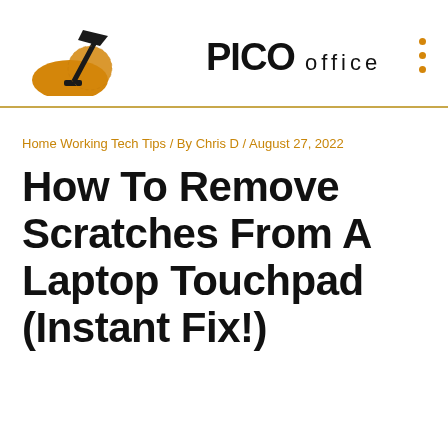[Figure (logo): Pico Office logo with desk lamp illustration in gold/black and bold PICO office text]
Home Working Tech Tips / By Chris D / August 27, 2022
How To Remove Scratches From A Laptop Touchpad (Instant Fix!)